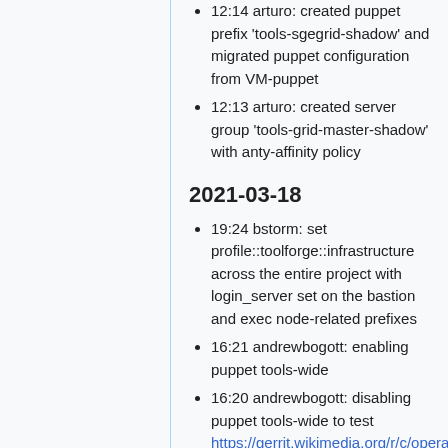12:14 arturo: created puppet prefix 'tools-sgegrid-shadow' and migrated puppet configuration from VM-puppet
12:13 arturo: created server group 'tools-grid-master-shadow' with anty-affinity policy
2021-03-18
19:24 bstorm: set profile::toolforge::infrastructure across the entire project with login_server set on the bastion and exec node-related prefixes
16:21 andrewbogott: enabling puppet tools-wide
16:20 andrewbogott: disabling puppet tools-wide to test https://gerrit.wikimedia.org/r/c/operations/puppet/+/672456
16:19 bstorm: added